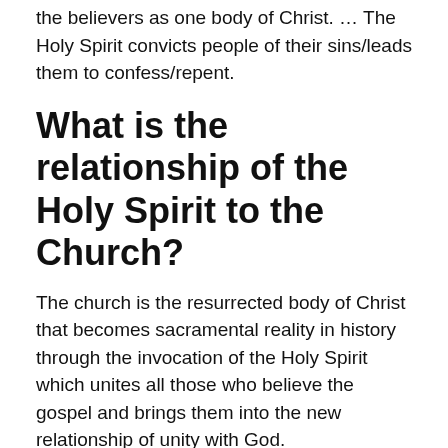the believers as one body of Christ. … The Holy Spirit convicts people of their sins/leads them to confess/repent.
What is the relationship of the Holy Spirit to the Church?
The church is the resurrected body of Christ that becomes sacramental reality in history through the invocation of the Holy Spirit which unites all those who believe the gospel and brings them into the new relationship of unity with God.
How is the Holy Spirit manifested in the church